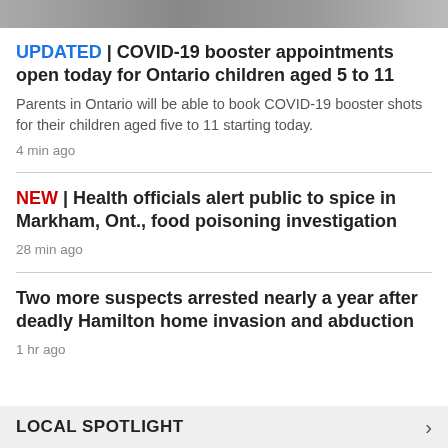[Figure (photo): Partial image strip at top of page]
UPDATED | COVID-19 booster appointments open today for Ontario children aged 5 to 11
Parents in Ontario will be able to book COVID-19 booster shots for their children aged five to 11 starting today.
4 min ago
NEW | Health officials alert public to spice in Markham, Ont., food poisoning investigation
28 min ago
Two more suspects arrested nearly a year after deadly Hamilton home invasion and abduction
1 hr ago
LOCAL SPOTLIGHT